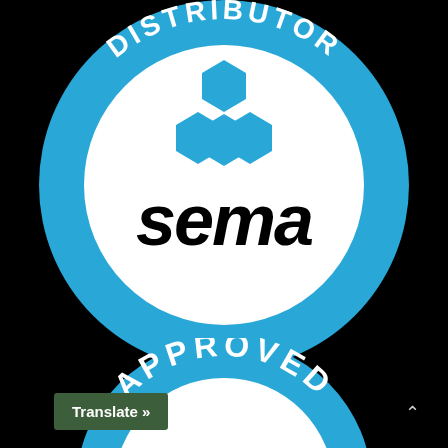[Figure (logo): SEMA Distributor Company circular badge logo. Blue circular background with white inner circle. Text 'DISTRIBUTOR' curved along the top arc and 'COMPANY' curved along the bottom arc in white. Blue hexagon cluster icon in the center top, and bold italic black 'sema' text below the hexagons.]
[Figure (logo): Partial SEMA Approved circular badge logo visible at the bottom of the page showing 'APPROVED' curved text along the top of the badge.]
Translate »